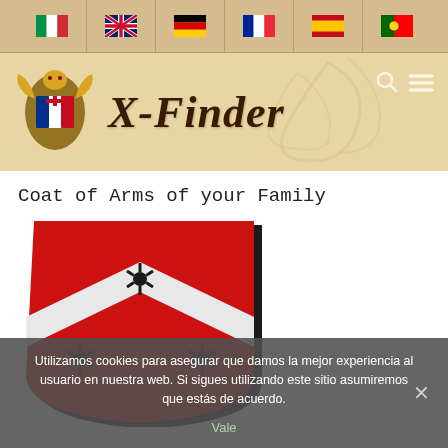Navigation bar with language flags: Italian, English, German, French, Spanish, Portuguese
[Figure (logo): X-Finder website header with coat of arms logo on left and decorative blackletter 'X-Finder' title text on beige/tan background with ornamental scroll decoration]
Coat of Arms of your Family
[Figure (illustration): Coat of arms / heraldic shield: red field with a white diagonal band (fess), three black spur-rowel (mullet/star) charges on the band and field]
Utilizamos cookies para asegurar que damos la mejor experiencia al usuario en nuestra web. Si sigues utilizando este sitio asumiremos que estás de acuerdo.
Vale